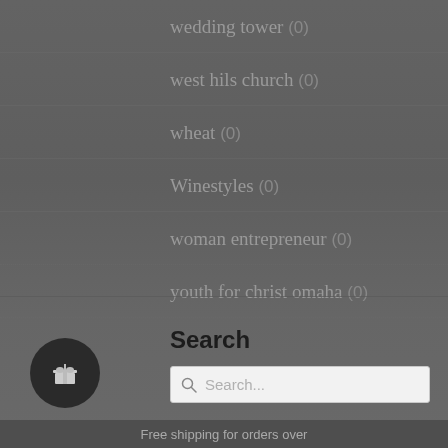wedding tower (0)
west hils church (0)
wheat (0)
Winestyles (0)
woman entrepreneur (0)
youth for christ omaha (0)
Search
Search...
Free shipping for orders over